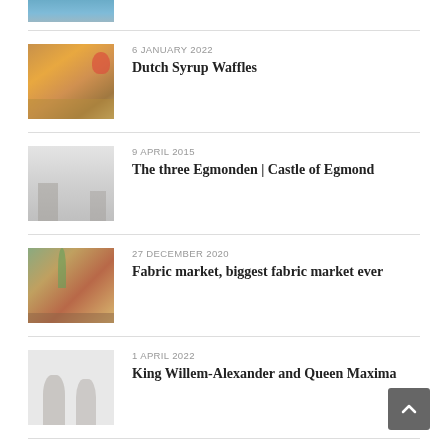[Figure (photo): Partial thumbnail image at top of page, showing blue/teal colors]
6 JANUARY 2022
Dutch Syrup Waffles
[Figure (photo): Photo of Dutch syrup waffles on a plate with blue and white Dutch pottery in background]
9 APRIL 2015
The three Egmonden | Castle of Egmond
[Figure (photo): Faded/washed out photo of castle ruins]
27 DECEMBER 2020
Fabric market, biggest fabric market ever
[Figure (photo): Photo of a fabric market with stalls and palm tree]
1 APRIL 2022
King Willem-Alexander and Queen Maxima
[Figure (photo): Faded photo of two royal figures]
9 MARCH 2019